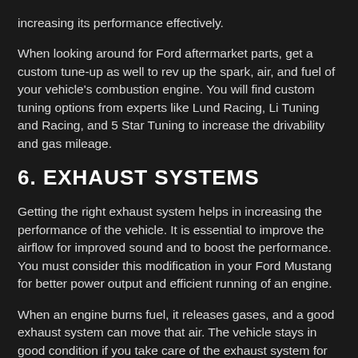increasing its performance effectively.
When looking around for Ford aftermarket parts, get a custom tune-up as well to rev up the spark, air, and fuel of your vehicle's combustion engine. You will find custom tuning options from experts like Lund Racing, Li Tuning and Racing, and 5 Star Tuning to increase the drivability and gas mileage.
6. EXHAUST SYSTEMS
Getting the right exhaust system helps in increasing the performance of the vehicle. It is essential to improve the airflow for improved sound and to boost the performance. You must consider this modification in your Ford Mustang for better power output and efficient running of an engine.
When an engine burns fuel, it releases gases, and a good exhaust system can move that air. The vehicle stays in good condition if you take care of the exhaust system for